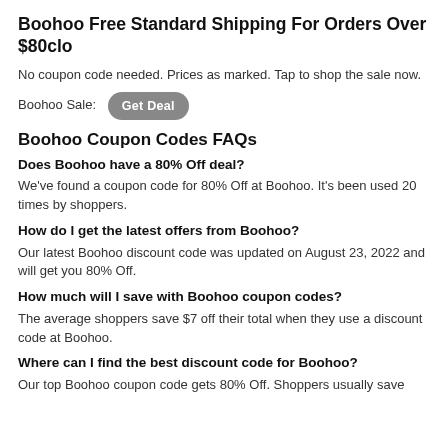Boohoo Free Standard Shipping For Orders Over $80clo
No coupon code needed. Prices as marked. Tap to shop the sale now.
Boohoo Sale: [Get Deal]
Boohoo Coupon Codes FAQs
Does Boohoo have a 80% Off deal?
We've found a coupon code for 80% Off at Boohoo. It's been used 20 times by shoppers.
How do I get the latest offers from Boohoo?
Our latest Boohoo discount code was updated on August 23, 2022 and will get you 80% Off.
How much will I save with Boohoo coupon codes?
The average shoppers save $7 off their total when they use a discount code at Boohoo.
Where can I find the best discount code for Boohoo?
Our top Boohoo coupon code gets 80% Off. Shoppers usually save